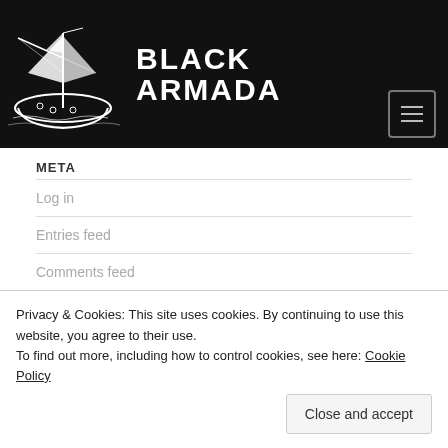[Figure (logo): Black Armada logo: white sailing ship illustration on black background with text BLACK ARMADA in white bold uppercase letters]
META
Log in
Entries feed
Comments feed
Privacy & Cookies: This site uses cookies. By continuing to use this website, you agree to their use.
To find out more, including how to control cookies, see here: Cookie Policy
Close and accept